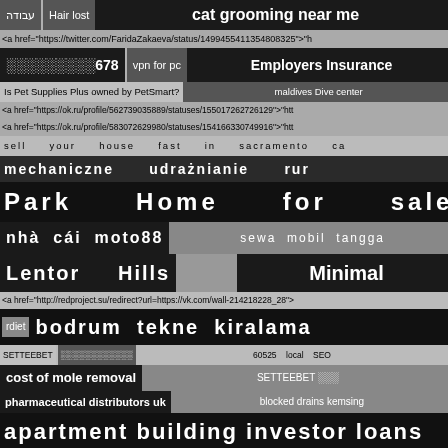עבודה  Hair lost  cat grooming near me
<a href="https://twitter.com/FaridaZakaeva/status/1499455411354808325">"h
░░░░░░░░░678   vpn for pc   Employers Insurance
Is Pet Supplies Plus owned by PetSmart?   maldives Dive center
<a href="https://ok.ru/profile/562739035889/statuses/155017262726129">"htt
<a href="https://ok.ru/profile/583072629980/statuses/154166330749916">"htt
sell your house fast in sacramento ca
mechaniczne udrażnianie rur
Park Home for sale
nhà cái moto88   sewa mobil tangga
Lentor Hills   Minimal
<a href="http://redproject.su/redirect?url=https://vk.com/wall-214218228_28">
rdiet  bodrum tekne kiralama
SETTEEBET  ░░░░░░░░░░░░  60525  local  SEO
cost of mole removal   SETTEEBET ░░░
pharmaceutical distributors uk   blocked drains kemsing
apartment building investor loans
local SEO near 60597   flowers delivered tomorrow
czytaj dalej na tej stronie  Survival Food  download lagu barat  DAP
Ruby  what is vpn
<a href="https://ok.ru/profile/580171965083/statuses/153868266499483">"htt
لموقعك   نسائي   صالون   اقرب